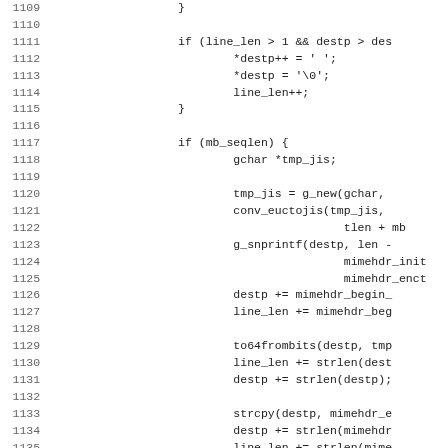Source code listing lines 1109-1141, C code snippet with line numbers